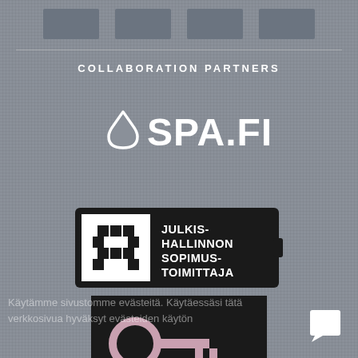[Figure (logo): Top decorative strip with three grey blocks representing logos/partners]
COLLABORATION PARTNERS
[Figure (logo): SPA.FI logo with water drop icon in white on grey background]
[Figure (logo): Julkishallinnon sopimustoimittaja badge - black rectangle with white square containing pixelated cross/hash symbol and Finnish text JULKIS-HALLINNON SOPIMUS-TOIMITTAJA]
[Figure (logo): Black rectangle with key icon - partially visible at bottom of page]
Käytämme sivustomme evästeitä. Käytäessäsi tätä verkkosivua hyväksyt evästeiden käytön